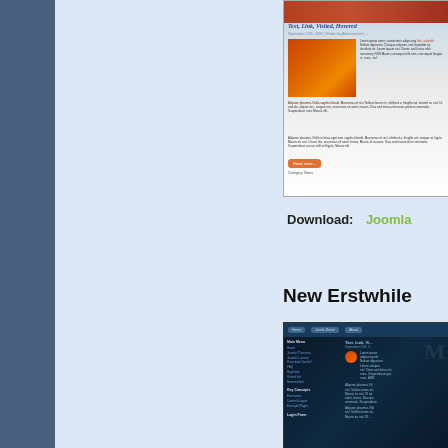[Figure (screenshot): Screenshot of a Joomla website template showing 'Text, Link, Visited, Hovered' article with orange flower image and blog-style content layout]
Download:   Joomla
New Erstwhile
[Figure (screenshot): Screenshot of 'New Erstwhile' Joomla template with dark blue/teal ocean-themed design, navigation bar, main menu sidebar, and content area]